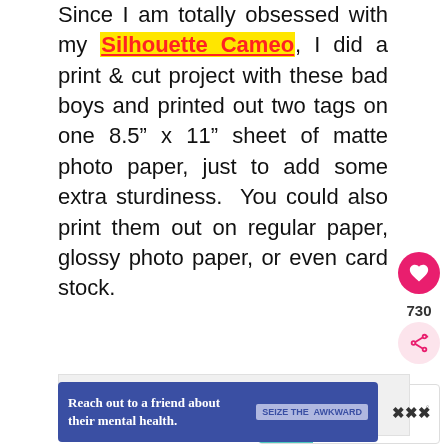Since I am totally obsessed with my Silhouette Cameo, I did a print & cut project with these bad boys and printed out two tags on one 8.5" x 11" sheet of matte photo paper, just to add some extra sturdiness. You could also print them out on regular paper, glossy photo paper, or even card stock.
[Figure (screenshot): Like/heart button (pink circle with heart icon), count 730, and share button (pink circle with share icon)]
[Figure (screenshot): What's Next panel with thumbnail and text: FREE Snowflake G...]
[Figure (screenshot): Gray content image placeholder area]
[Figure (screenshot): Blue advertisement banner: Reach out to a friend about their mental health. SEIZE THE AWKWARD]